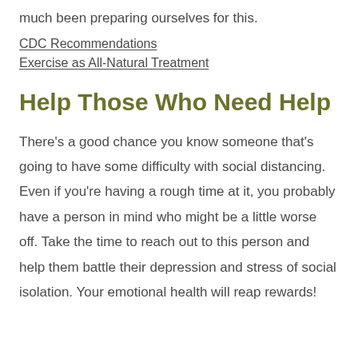much been preparing ourselves for this.
CDC Recommendations
Exercise as All-Natural Treatment
Help Those Who Need Help
There's a good chance you know someone that's going to have some difficulty with social distancing. Even if you're having a rough time at it, you probably have a person in mind who might be a little worse off. Take the time to reach out to this person and help them battle their depression and stress of social isolation. Your emotional health will reap rewards!